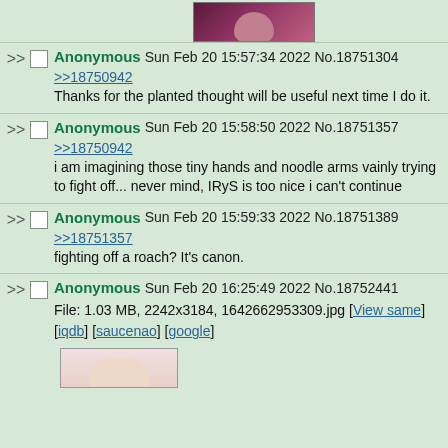[Figure (illustration): Thumbnail of anime-style character at top of page]
>> Anonymous Sun Feb 20 15:57:34 2022 No.18751304
>>18750942
Thanks for the planted thought will be useful next time I do it.
>> Anonymous Sun Feb 20 15:58:50 2022 No.18751357
>>18750942
i am imagining those tiny hands and noodle arms vainly trying to fight off... never mind, IRyS is too nice i can't continue
>> Anonymous Sun Feb 20 15:59:33 2022 No.18751389
>>18751357
fighting off a roach? It's canon.
>> Anonymous Sun Feb 20 16:25:49 2022 No.18752441
File: 1.03 MB, 2242x3184, 1642662953309.jpg [View same] [iqdb] [saucenao] [google]
[Figure (illustration): Thumbnail of anime-style character at bottom of page]